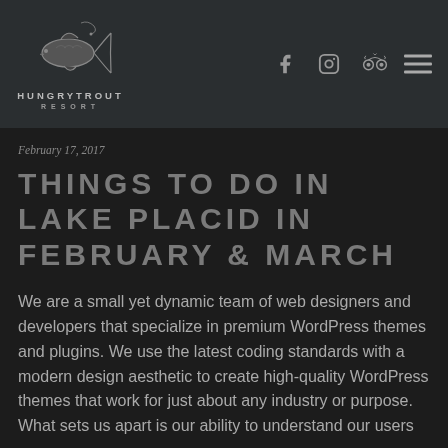[Figure (logo): Hungry Trout Resort logo with stylized trout fish above text HUNGRYTROUT RESORT]
Hungry Trout Resort — navigation header with Facebook, Instagram, Tripadvisor icons and hamburger menu
February 17, 2017
THINGS TO DO IN LAKE PLACID IN FEBRUARY & MARCH
We are a small yet dynamic team of web designers and developers that specialize in premium WordPress themes and plugins. We use the latest coding standards with a modern design aesthetic to create high-quality WordPress themes that work for just about any industry or purpose. What sets us apart is our ability to understand our users